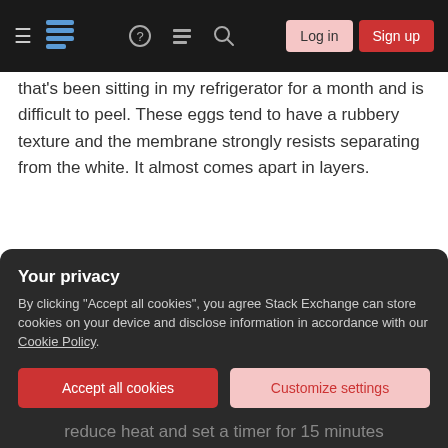Stack Exchange navigation bar with hamburger menu, logo, help, chat, search icons, Log in and Sign up buttons
that's been sitting in my refrigerator for a month and is difficult to peel. These eggs tend to have a rubbery texture and the membrane strongly resists separating from the white. It almost comes apart in layers.
Process
wash eggs (stored at room temperature, unwashed eggs have a natural coating that keeps them fresh)
Your privacy
By clicking "Accept all cookies", you agree Stack Exchange can store cookies on your device and disclose information in accordance with our Cookie Policy.
Accept all cookies | Customize settings
reduce heat and set a timer for 15 minutes